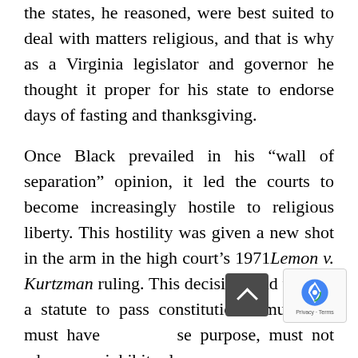the states, he reasoned, were best suited to deal with matters religious, and that is why as a Virginia legislator and governor he thought it proper for his state to endorse days of fasting and thanksgiving.
Once Black prevailed in his “wall of separation” opinion, it led the courts to become increasingly hostile to religious liberty. This hostility was given a new shot in the arm in the high court’s 1971 Lemon v. Kurtzman ruling. This decision held that for a statute to pass constitutional muster, it must have a secular purpose, must not advance or inhibit relig…